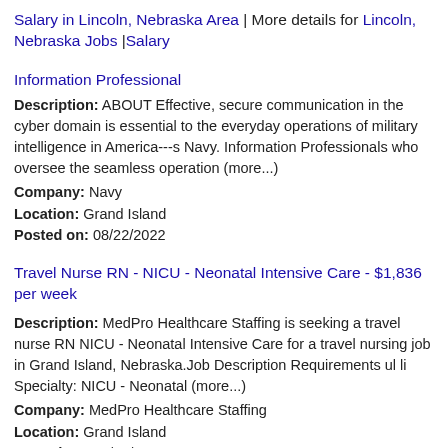Salary in Lincoln, Nebraska Area | More details for Lincoln, Nebraska Jobs |Salary
Information Professional
Description: ABOUT Effective, secure communication in the cyber domain is essential to the everyday operations of military intelligence in America---s Navy. Information Professionals who oversee the seamless operation (more...)
Company: Navy
Location: Grand Island
Posted on: 08/22/2022
Travel Nurse RN - NICU - Neonatal Intensive Care - $1,836 per week
Description: MedPro Healthcare Staffing is seeking a travel nurse RN NICU - Neonatal Intensive Care for a travel nursing job in Grand Island, Nebraska.Job Description Requirements ul li Specialty: NICU - Neonatal (more...)
Company: MedPro Healthcare Staffing
Location: Grand Island
Posted on: 08/22/2022